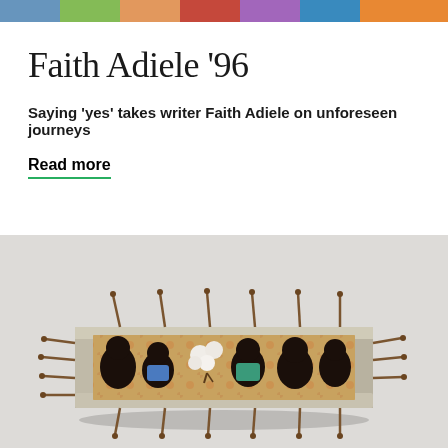[Figure (photo): Colorful image strip at the top of the page, appearing to be a cropped horizontal banner image with multiple colors]
Faith Adiele '96
Saying 'yes' takes writer Faith Adiele on unforeseen journeys
Read more
[Figure (photo): Photograph of an art piece: a weathered rectangular wooden box studded with rusty nails protruding from all sides, containing several dark figurines/dolls and cotton bolls arranged inside, against a light gray background]